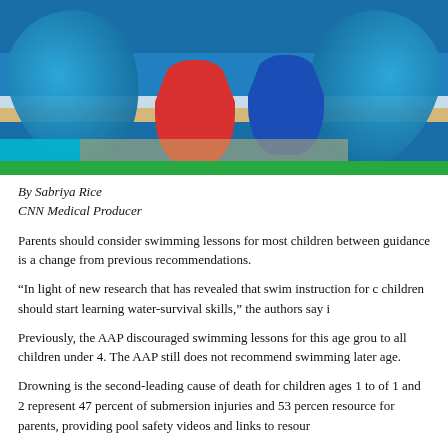[Figure (photo): Children in a swimming pool with colorful kickboards (red and blue) and blue swim rings/floaties, viewed from above.]
By Sabriya Rice
CNN Medical Producer
Parents should consider swimming lessons for most children between guidance is a change from previous recommendations.
“In light of new research that has revealed that swim instruction for children should start learning water-survival skills,” the authors say i
Previously, the AAP discouraged swimming lessons for this age grou to all children under 4. The AAP still does not recommend swimming later age.
Drowning is the second-leading cause of death for children ages 1 to of 1 and 2 represent 47 percent of submersion injuries and 53 percen resource for parents, providing pool safety videos and links to resour
“Children need to learn to swim,” say the authors of the Pediatrics re and be near the water, so children with the new guidance